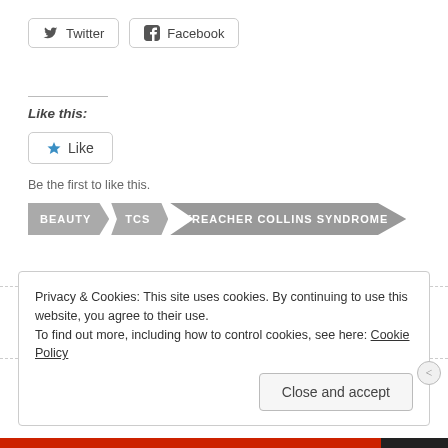[Figure (other): Twitter and Facebook social share buttons]
Like this:
[Figure (other): Like button widget with star icon]
Be the first to like this.
[Figure (other): Tag ribbon with labels: BEAUTY, TCS, TREACHER COLLINS SYNDROME]
[Figure (other): Decorative dotted separator with circle icons]
Privacy & Cookies: This site uses cookies. By continuing to use this website, you agree to their use.
To find out more, including how to control cookies, see here: Cookie Policy
Close and accept